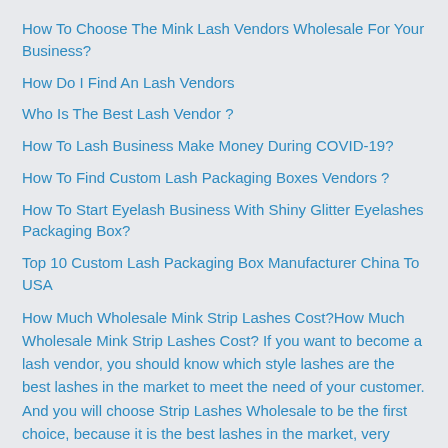How To Choose The Mink Lash Vendors Wholesale For Your Business?
How Do I Find An Lash Vendors
Who Is The Best Lash Vendor ?
How To Lash Business Make Money During COVID-19?
How To Find Custom Lash Packaging Boxes Vendors ?
How To Start Eyelash Business With Shiny Glitter Eyelashes Packaging Box?
Top 10 Custom Lash Packaging Box Manufacturer China To USA
How Much Wholesale Mink Strip Lashes Cost?How Much Wholesale Mink Strip Lashes Cost? If you want to become a lash vendor, you should know which style lashes are the best lashes in the market to meet the need of your customer. And you will choose Strip Lashes Wholesale to be the first choice, because it is the best lashes in the market, very popular in the market. What is